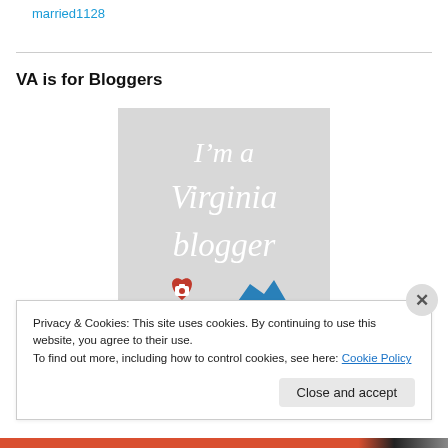married1128
[Figure (illustration): Badge image with grey background, white serif italic text reading 'I'm a Virginia blogger' with a red camera icon and blue mountain/state icon at the bottom]
VA is for Bloggers
Privacy & Cookies: This site uses cookies. By continuing to use this website, you agree to their use.
To find out more, including how to control cookies, see here: Cookie Policy
Close and accept